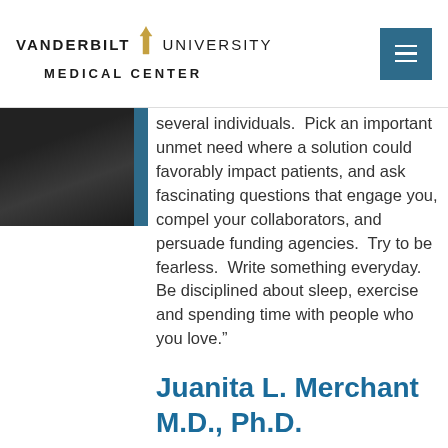VANDERBILT UNIVERSITY MEDICAL CENTER
[Figure (photo): Partial photo of a person wearing dark clothing with blue accent, cropped at top-left of content area]
several individuals.  Pick an important unmet need where a solution could favorably impact patients, and ask fascinating questions that engage you, compel your collaborators, and persuade funding agencies.  Try to be fearless.  Write something everyday.  Be disciplined about sleep, exercise and spending time with people who you love.”
Juanita L. Merchant M.D., Ph.D.